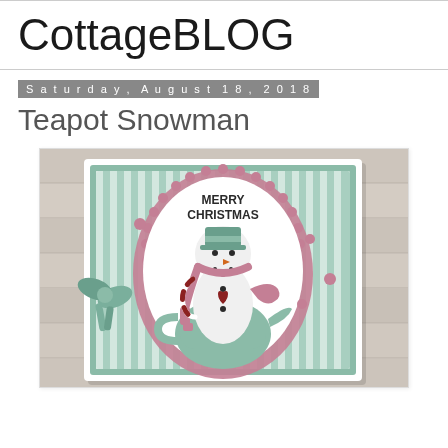CottageBLOG
Saturday, August 18, 2018
Teapot Snowman
[Figure (photo): A handmade Christmas card featuring a snowman wearing a pink scarf and green hat, sitting in a mint green teapot with holly decoration. The card has a pink scalloped oval frame with 'MERRY CHRISTMAS' text, a candy cane, pink dots, and a green ribbon bow on the left. The background is mint green stripes. The card is photographed on a light wood plank surface.]